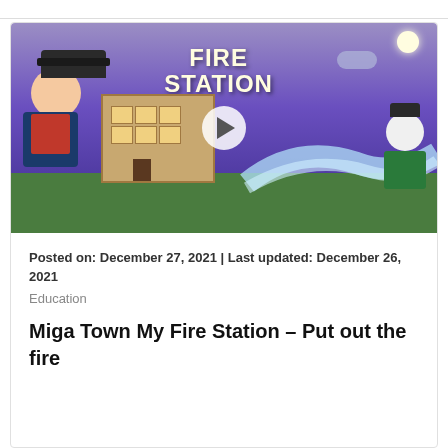[Figure (screenshot): Animated game screenshot showing a cartoon firefighter character in front of a 'Fire Station' sign, with water being sprayed. A play button overlay is visible in the center.]
Posted on: December 27, 2021 | Last updated: December 26, 2021
Education
Miga Town My Fire Station – Put out the fire